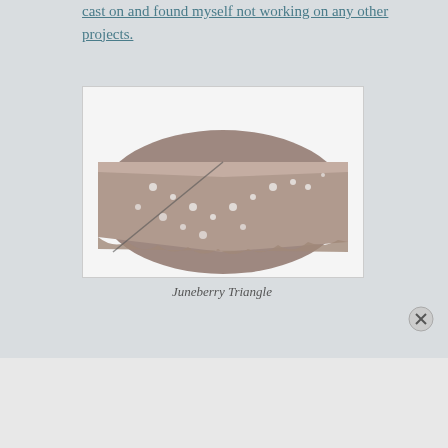cast on and found myself not working on any other projects.
[Figure (photo): A triangular knitted lace shawl in taupe/brown yarn laid flat on a white surface, showing intricate lace pattern with decorative holes and a ruffled border edge.]
Juneberry Triangle
Advertisements
[Figure (other): DuckDuckGo advertisement banner: 'Search, browse, and email with more privacy. All in One Free App' with DuckDuckGo duck logo on dark background]